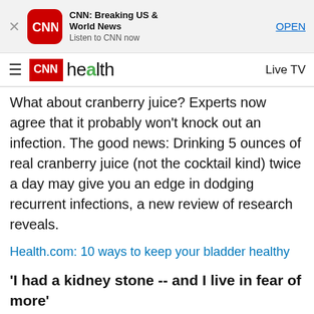[Figure (screenshot): CNN app banner with red rounded icon, app title 'CNN: Breaking US & World News', subtitle 'Listen to CNN now', and OPEN button]
CNN health   Live TV
What about cranberry juice? Experts now agree that it probably won't knock out an infection. The good news: Drinking 5 ounces of real cranberry juice (not the cocktail kind) twice a day may give you an edge in dodging recurrent infections, a new review of research reveals.
Health.com: 10 ways to keep your bladder healthy
'I had a kidney stone -- and I live in fear of more'
While men are their main victims, the incidence of